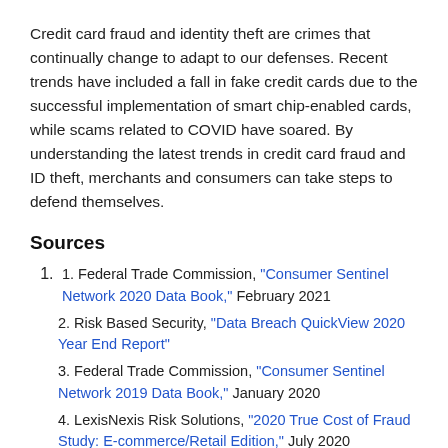Credit card fraud and identity theft are crimes that continually change to adapt to our defenses. Recent trends have included a fall in fake credit cards due to the successful implementation of smart chip-enabled cards, while scams related to COVID have soared. By understanding the latest trends in credit card fraud and ID theft, merchants and consumers can take steps to defend themselves.
Sources
Federal Trade Commission, “Consumer Sentinel Network 2020 Data Book,” February 2021
Risk Based Security, “Data Breach QuickView 2020 Year End Report”
Federal Trade Commission, “Consumer Sentinel Network 2019 Data Book,” January 2020
LexisNexis Risk Solutions, “2020 True Cost of Fraud Study: E-commerce/Retail Edition,” July 2020